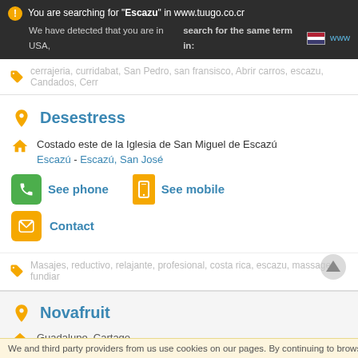You are searching for "Escazu" in www.tuugo.co.cr
We have detected that you are in USA, search for the same term in: www
cerrajeria, curridabat, San Pedro, san fransisco, Abrir carros, escazu, Candados, Cerr
Desestress
Costado este de la Iglesia de San Miguel de Escazú
Escazú - Escazú, San José
See phone
See mobile
Contact
Masajes, reductivo, relajante, profesional, costa rica, escazu, massages, fundiar
Novafruit
Guadalupe, Cartago
We and third party providers from us use cookies on our pages. By continuing to browse our